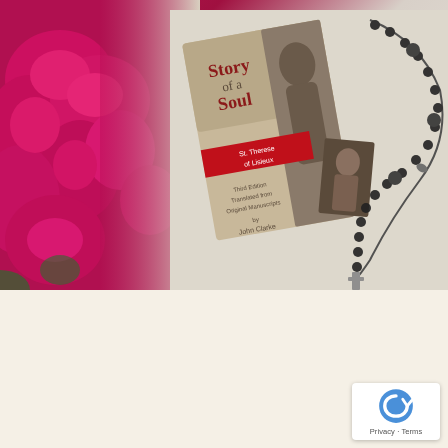[Figure (photo): Hero image showing pink roses on the left and a book titled 'Story of a Soul - The Autobiography of St. Therese of Lisieux' by John Clarke alongside a black rosary and a small holy card, arranged on a light beige/white surface.]
Religious Gifts
Thank you for visiting our Religious Gifts page. All gifts are blessed before they leave the Society. All donations are in US Dollars.